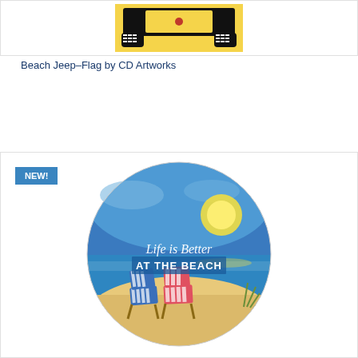[Figure (illustration): Beach Jeep flag product image showing a black jeep silhouette on a yellow background, partial view of top of product card]
Beach Jeep-Flag by CD Artworks
[Figure (illustration): Circular illustration showing beach scene with three striped beach chairs (blue and red/pink striped) on sandy beach, ocean and sunset sky in background, with cursive and bold text reading 'Life is Better AT THE BEACH'. Has a NEW! badge in the upper left corner.]